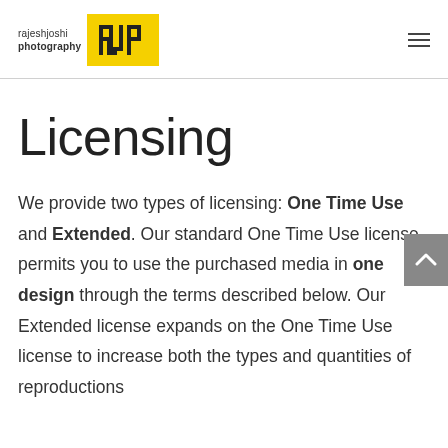rajeshjoshi photography [RJP logo]
Licensing
We provide two types of licensing: One Time Use and Extended. Our standard One Time Use license permits you to use the purchased media in one design through the terms described below. Our Extended license expands on the One Time Use license to increase both the types and quantities of reproductions